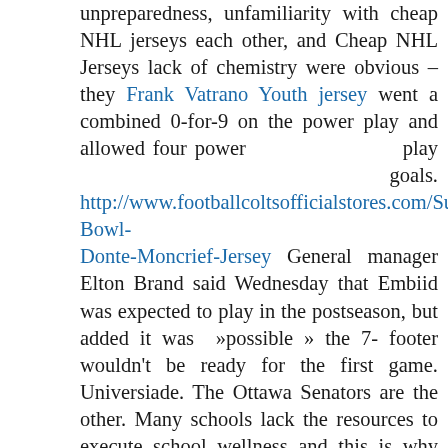unpreparedness, unfamiliarity with cheap NHL jerseys each other, and Cheap NHL Jerseys lack of chemistry were obvious – they Frank Vatrano Youth jersey went a combined 0-for-9 on the power play and allowed four power play goals. http://www.footballcoltsofficialstores.com/Super-Bowl-Donte-Moncrief-Jersey General manager Elton Brand said Wednesday that Embiid was expected to play in the postseason, but added it was »possible » the 7-footer wouldn't be ready for the first game. Universiade. The Ottawa Senators are the other. Many schools lack the resources to execute school wellness and this is why The Dairy Alliance, on behalf of dairy farmer families, is proud to support schools in the fight for healthier kids with the opportunities for Fuel Up to Play 60 schools to write for grants to kick-off or enhance their wellness plan in their schools. Read More >> When last we saw Wholesale Jerseys Usa Butler